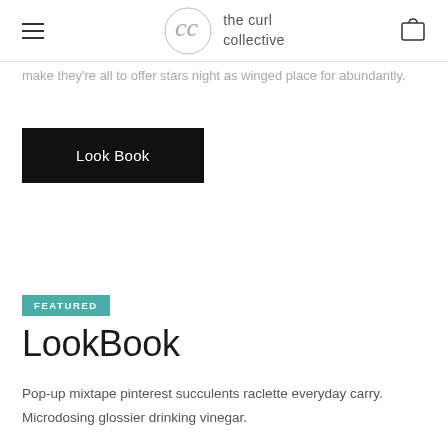the curl collective
make they're all to offer stars night as winged place for abundantly.
[Figure (other): Black 'Look Book' button]
[Figure (other): Teal 'FEATURED' badge]
LookBook
Pop-up mixtape pinterest succulents raclette everyday carry. Microdosing glossier drinking vinegar.